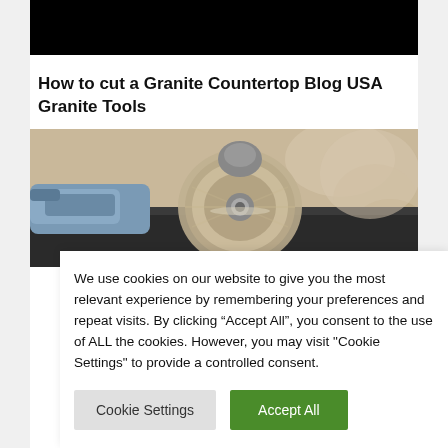[Figure (photo): Black bar/video thumbnail at top of page]
How to cut a Granite Countertop Blog USA Granite Tools
[Figure (photo): Close-up photo of an angle grinder cutting granite countertop, with spinning blade visible]
We use cookies on our website to give you the most relevant experience by remembering your preferences and repeat visits. By clicking “Accept All”, you consent to the use of ALL the cookies. However, you may visit "Cookie Settings" to provide a controlled consent.
Cookie Settings
Accept All